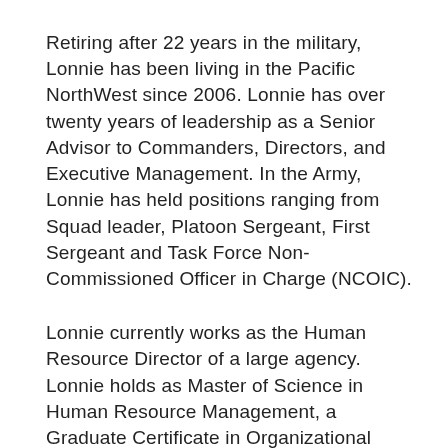Retiring after 22 years in the military, Lonnie has been living in the Pacific NorthWest since 2006. Lonnie has over twenty years of leadership as a Senior Advisor to Commanders, Directors, and Executive Management. In the Army, Lonnie has held positions ranging from Squad leader, Platoon Sergeant, First Sergeant and Task Force Non-Commissioned Officer in Charge (NCOIC).
Lonnie currently works as the Human Resource Director of a large agency. Lonnie holds as Master of Science in Human Resource Management, a Graduate Certificate in Organizational Leadership and Change Management. Lonnie has worked in HR for over 14 years, as a Leave and Worker's Compensation Consultant, Safety, Wellness, Diversity Coordinator, and now the Human Resource…